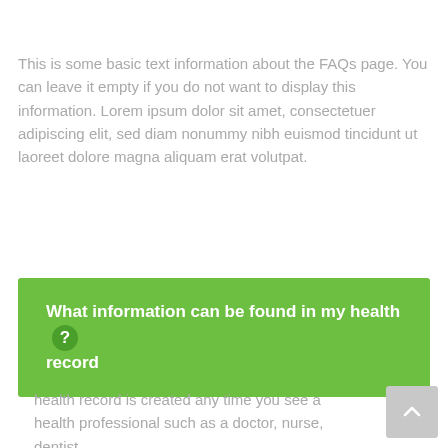This is some basic text information about the FAQs page. You can leave it empty if you do not want to display this information. Lorem ipsum dolor sit amet, consectetuer adipiscing elit, sed diam nonummy nibh euismod tincidunt ut laoreet dolore magna aliquam erat volutpat.
What information can be found in my health record?
health record is created any time you see a health professional such as a doctor, nurse, dentist,